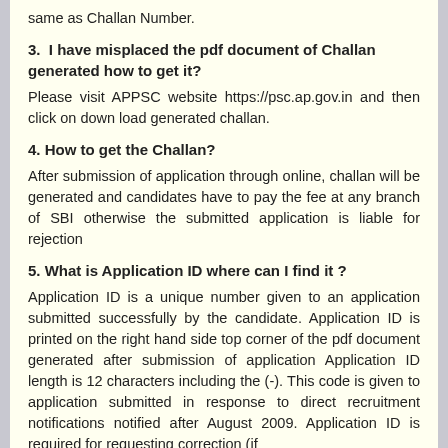same as Challan Number.
3. I have misplaced the pdf document of Challan generated how to get it?
Please visit APPSC website https://psc.ap.gov.in and then click on down load generated challan.
4. How to get the Challan?
After submission of application through online, challan will be generated and candidates have to pay the fee at any branch of SBI otherwise the submitted application is liable for rejection
5. What is Application ID where can I find it ?
Application ID is a unique number given to an application submitted successfully by the candidate. Application ID is printed on the right hand side top corner of the pdf document generated after submission of application Application ID length is 12 characters including the (-). This code is given to application submitted in response to direct recruitment notifications notified after August 2009. Application ID is required for requesting correction (if